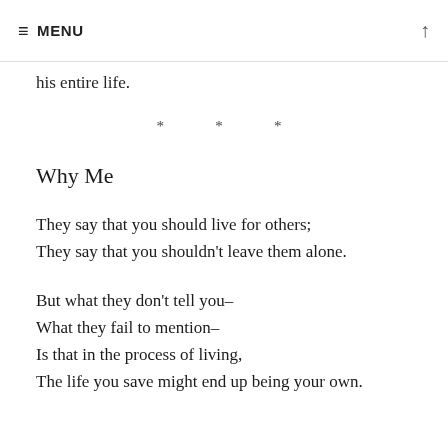≡ MENU ↑
his entire life.
* * *
Why Me
They say that you should live for others;
They say that you shouldn't leave them alone.
But what they don't tell you–
What they fail to mention–
Is that in the process of living,
The life you save might end up being your own.